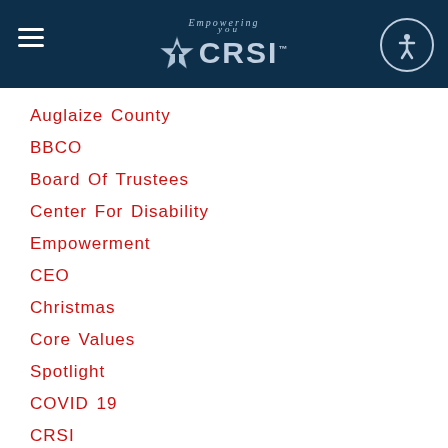[Figure (logo): CRSI logo with star and 'Empowering You' tagline on dark navy header bar with hamburger menu and accessibility icon]
Auglaize County
BBCO
Board Of Trustees
Center For Disability Empowerment
CEO
Christmas
Core Values Spotlight
COVID 19
CRSI
Day Of Giving